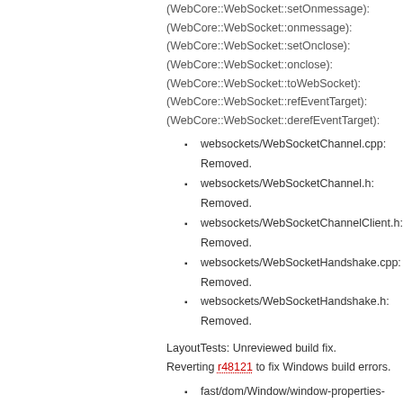(WebCore::WebSocket::setOnmessage):
(WebCore::WebSocket::onmessage):
(WebCore::WebSocket::setOnclose):
(WebCore::WebSocket::onclose):
(WebCore::WebSocket::toWebSocket):
(WebCore::WebSocket::refEventTarget):
(WebCore::WebSocket::derefEventTarget):
websockets/WebSocketChannel.cpp: Removed.
websockets/WebSocketChannel.h: Removed.
websockets/WebSocketChannelClient.h: Removed.
websockets/WebSocketHandshake.cpp: Removed.
websockets/WebSocketHandshake.h: Removed.
LayoutTests: Unreviewed build fix.
Reverting r48121 to fix Windows build errors.
fast/dom/Window/window-properties-expected.txt:
fast/dom/prototype-inheritance-2-expected.txt:
fast/dom/prototype-inheritance-expected.txt:
fast/js/global-constructors-expected.txt:
2:29 PM Changeset in webkit [48136] by atwilson@chromium.org
2 edits in trunk/WebCore
Unreviewed speculative build fix.
Reverted previous build fix as it didn't fix the problem.
bindings/js/JSEventTarget.cpp: